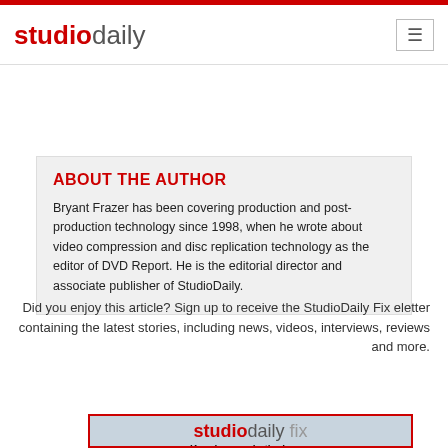studiodaily
ABOUT THE AUTHOR
Bryant Frazer has been covering production and post-production technology since 1998, when he wrote about video compression and disc replication technology as the editor of DVD Report. He is the editorial director and associate publisher of StudioDaily.
Did you enjoy this article? Sign up to receive the StudioDaily Fix eletter containing the latest stories, including news, videos, interviews, reviews and more.
Get Studio E-Letters
[Figure (screenshot): StudioDaily Fix newsletter advertisement showing the studiodaily fix logo and text 'Keeping you in the know: product news and reviews, emerging']